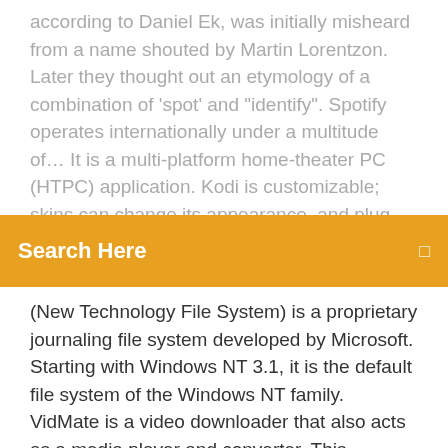according to Daniel Ek, was initially misheard from a name shouted by Martin Lorentzon. Later they thought out an etymology of a combination of 'spot' and 'identify'. Spotify operates internationally under a multitude of… It is a multi-platform home-theater PC (HTPC) application. Kodi is customizable; skins can change its appearance, and plug ins
[Figure (screenshot): Orange search bar with text 'Search Here' and a small square icon on the right]
(New Technology File System) is a proprietary journaling file system developed by Microsoft. Starting with Windows NT 3.1, it is the default file system of the Windows NT family. VidMate is a video downloader that also acts as a media player and converter. This eliminates the need for multiple programs; VidMate can handle it all! The systems and methods relate to the compression of multiple files into a single file called an archive. Before appending the multiple files as one file to be compressed, the systems and methods arrange the order of